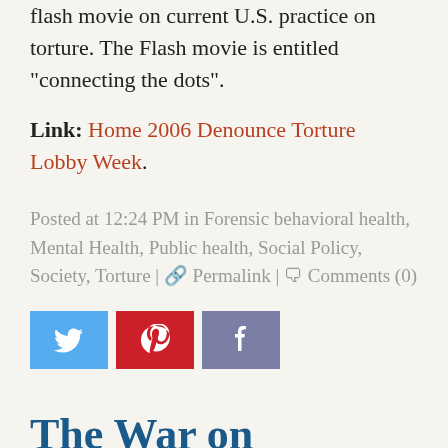flash movie on current U.S. practice on torture. The Flash movie is entitled "connecting the dots".
Link: Home 2006 Denounce Torture Lobby Week.
Posted at 12:24 PM in Forensic behavioral health, Mental Health, Public health, Social Policy, Society, Torture | Permalink | Comments (0)
[Figure (other): Social media sharing buttons: Twitter (blue), Pinterest (red), Facebook (purple/grey)]
The War on Torture: U.S. Policy Exposed
July 09, 2006